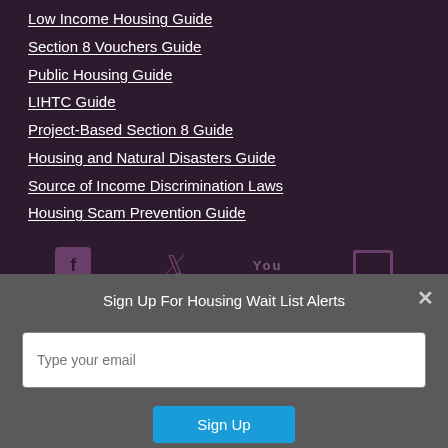Low Income Housing Guide
Section 8 Vouchers Guide
Public Housing Guide
LIHTC Guide
Project-Based Section 8 Guide
Housing and Natural Disasters Guide
Source of Income Discrimination Laws
Housing Scam Prevention Guide
[Figure (infographic): Social media icons for Facebook, Twitter, YouTube, and Email/Newsletter on a dark purple background]
Sign Up For Housing Wait List Alerts
Type your email
Sign Up